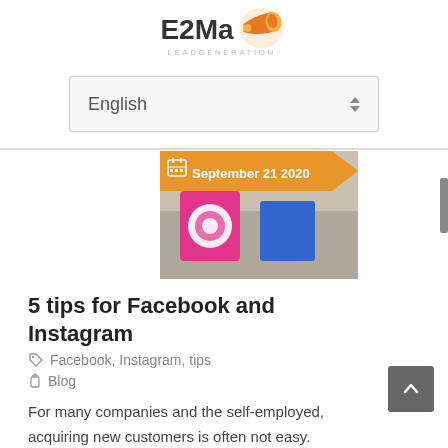[Figure (logo): E2Ma Leadgeneration logo with orange megaphone icon]
[Figure (screenshot): Language selector dropdown showing 'English' with up/down arrows]
[Figure (photo): Blog post featured image showing Instagram logo/colors with date banner 'September 21 2020']
5 tips for Facebook and Instagram
Facebook, Instagram, tips
Blog
For many companies and the self-employed, acquiring new customers is often not easy. Due to their enormous reach, social...
Read More »